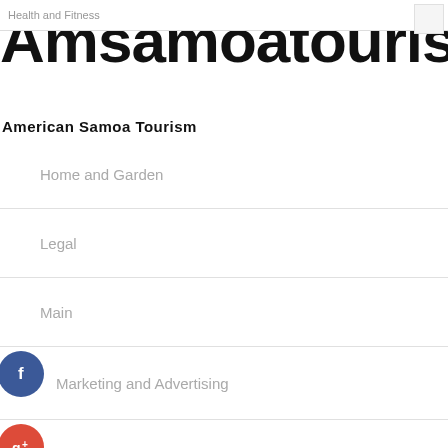Health and Fitness
Amsamoatourism
American Samoa Tourism
Home and Garden
Legal
Main
Marketing and Advertising
Pets
Technology and Gadgets
Travel & Leisure